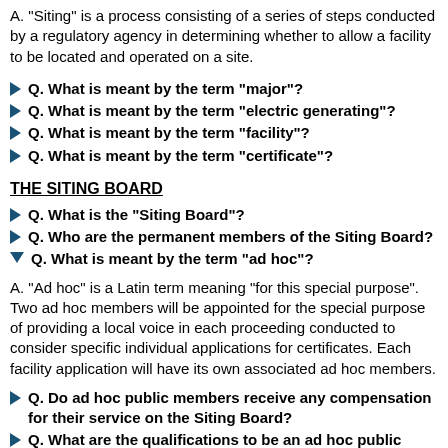A. "Siting" is a process consisting of a series of steps conducted by a regulatory agency in determining whether to allow a facility to be located and operated on a site.
Q. What is meant by the term "major"?
Q. What is meant by the term "electric generating"?
Q. What is meant by the term "facility"?
Q. What is meant by the term "certificate"?
THE SITING BOARD
Q. What is the "Siting Board"?
Q. Who are the permanent members of the Siting Board?
Q. What is meant by the term "ad hoc"?
A. "Ad hoc" is a Latin term meaning "for this special purpose". Two ad hoc members will be appointed for the special purpose of providing a local voice in each proceeding conducted to consider specific individual applications for certificates. Each facility application will have its own associated ad hoc members.
Q. Do ad hoc public members receive any compensation for their service on the Siting Board?
Q. What are the qualifications to be an ad hoc public